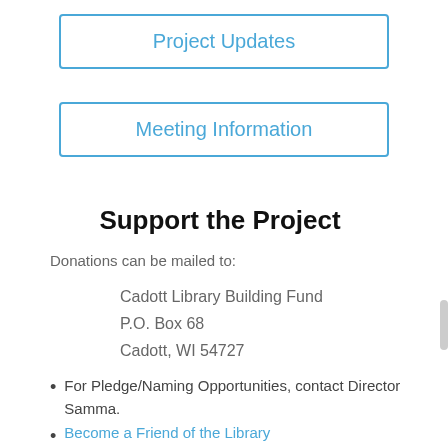Project Updates
Meeting Information
Support the Project
Donations can be mailed to:
Cadott Library Building Fund
P.O. Box 68
Cadott, WI 54727
For Pledge/Naming Opportunities, contact Director Samma.
Become a Friend of the Library